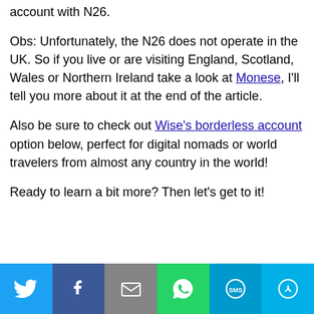account with N26.
Obs: Unfortunately, the N26 does not operate in the UK. So if you live or are visiting England, Scotland, Wales or Northern Ireland take a look at Monese, I'll tell you more about it at the end of the article.
Also be sure to check out Wise's borderless account option below, perfect for digital nomads or world travelers from almost any country in the world!
Ready to learn a bit more? Then let's get to it!
[Figure (infographic): Social share bar with Twitter, Facebook, Email, WhatsApp, SMS, and More buttons]